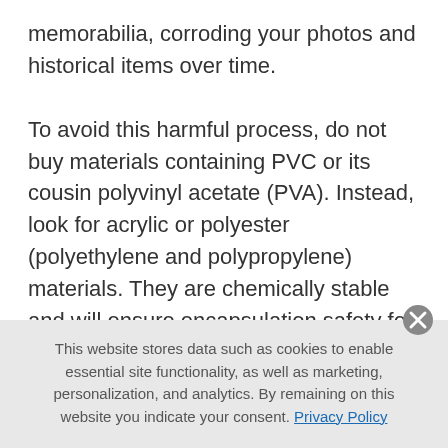memorabilia, corroding your photos and historical items over time.

To avoid this harmful process, do not buy materials containing PVC or its cousin polyvinyl acetate (PVA). Instead, look for acrylic or polyester (polyethylene and polypropylene) materials. They are chemically stable and will ensure encapsulation safety for your memorabilia. If you are uncertain of a product's composition, you can easily identify PVC by its
This website stores data such as cookies to enable essential site functionality, as well as marketing, personalization, and analytics. By remaining on this website you indicate your consent. Privacy Policy